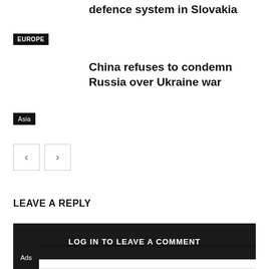defence system in Slovakia
EUROPE
China refuses to condemn Russia over Ukraine war
Asia
LEAVE A REPLY
LOG IN TO LEAVE A COMMENT
Ads